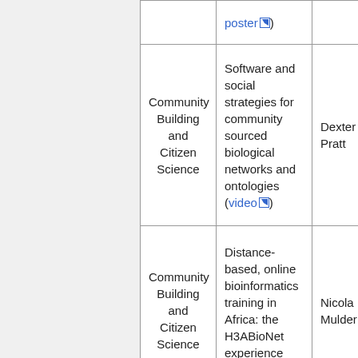| Category | Description | Speaker |
| --- | --- | --- |
|  | poster |  |
| Community Building and Citizen Science | Software and social strategies for community sourced biological networks and ontologies (video) | Dexter Pratt |
| Community Building and Citizen Science | Distance-based, online bioinformatics training in Africa: the H3ABioNet experience (video) | Nicola Mulder |
| Community | (Q&A for |  |